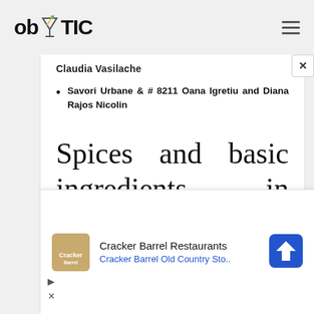ob TIC
Claudia Vasilache
Savori Urbane & # 8211 Oana Igretiu and Diana Rajos Nicolin
Spices and basic ingredients in Korean cuisine